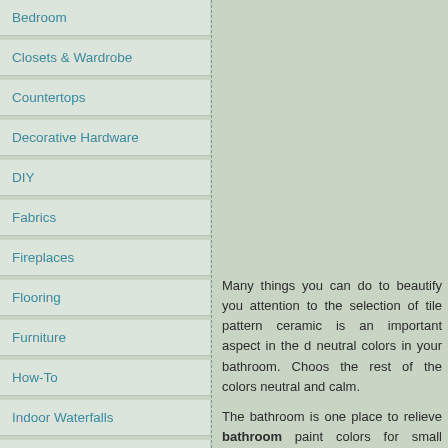Bedroom
Closets & Wardrobe
Countertops
Decorative Hardware
DIY
Fabrics
Fireplaces
Flooring
Furniture
How-To
Indoor Waterfalls
Kitchen Faucets
Kitchen Sinks
Kitchens
Lighting
Many things you can do to beautify you attention to the selection of tile pattern ceramic is an important aspect in the d neutral colors in your bathroom. Choos the rest of the colors neutral and calm.
The bathroom is one place to relieve bathroom paint colors for small bathro green. The blue color reminds us of the just choose blue paint color. For examp